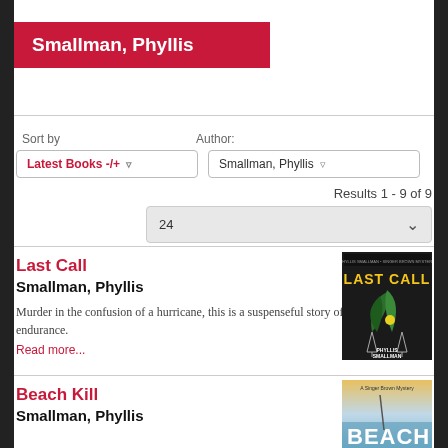Smallman, Phyllis
Sort by
Author:
Latest Books -/+
Smallman, Phyllis
Results 1 - 9 of 9
24
Last Call
Smallman, Phyllis
Murder in the confusion of a hurricane, this is a suspenseful story of friendship and endurance.
Read more...
[Figure (illustration): Book cover for Last Call by Phyllis Smallman, dark background with cocktail glasses and palm fronds]
Beach Kill
Smallman, Phyllis
[Figure (illustration): Book cover for Beach Kill, A Singer Brown Mystery, with beach scene background and bold text BEACH]